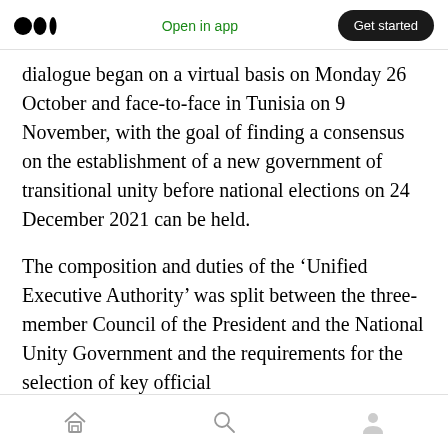Open in app | Get started
dialogue began on a virtual basis on Monday 26 October and face-to-face in Tunisia on 9 November, with the goal of finding a consensus on the establishment of a new government of transitional unity before national elections on 24 December 2021 can be held.
The composition and duties of the ‘Unified Executive Authority’ was split between the three-member Council of the President and the National Unity Government and the requirements for the selection of key official
Home | Search | Profile